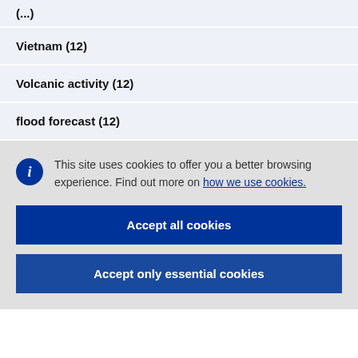Vietnam (12)
Volcanic activity (12)
flood forecast (12)
This site uses cookies to offer you a better browsing experience. Find out more on how we use cookies.
Accept all cookies
Accept only essential cookies